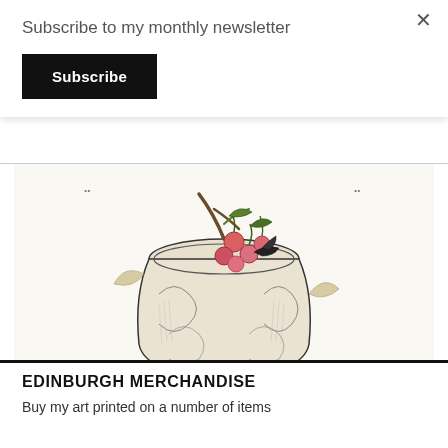Subscribe to my monthly newsletter
Subscribe
[Figure (illustration): Hand-drawn illustration of a vase or jar with cherries/berries and foliage, rendered in ink and watercolor with earthy tones]
EDINBURGH MERCHANDISE
Buy my art printed on a number of items